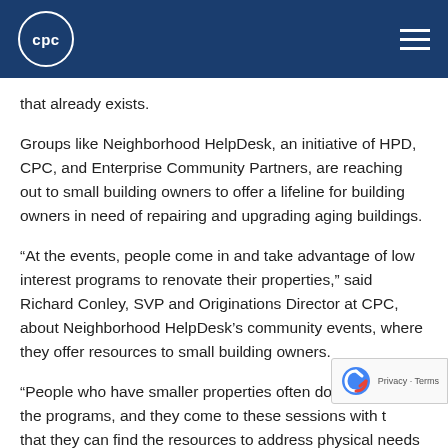cpc
that already exists.
Groups like Neighborhood HelpDesk, an initiative of HPD, CPC, and Enterprise Community Partners, are reaching out to small building owners to offer a lifeline for building owners in need of repairing and upgrading aging buildings.
“At the events, people come in and take advantage of low interest programs to renovate their properties,” said Richard Conley, SVP and Originations Director at CPC, about Neighborhood HelpDesk’s community events, where they offer resources to small building owners.
“People who have smaller properties often don’t know the programs, and they come to these sessions with th… that they can find the resources to address physical needs